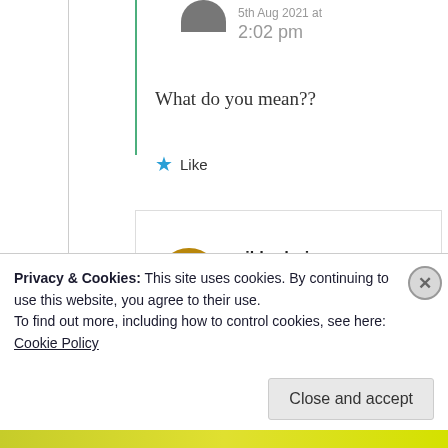5th Aug 2021 at 2:02 pm
What do you mean??
Like
mildredprincetech
5th Aug 2021 at 3:09
Privacy & Cookies: This site uses cookies. By continuing to use this website, you agree to their use. To find out more, including how to control cookies, see here: Cookie Policy
Close and accept